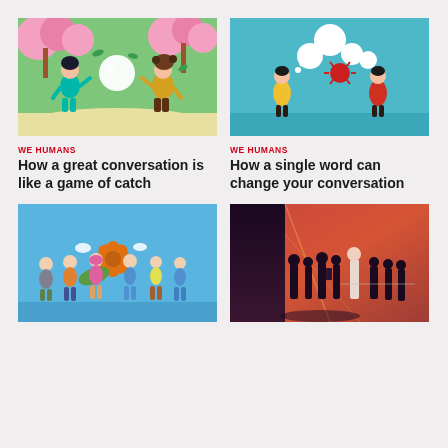[Figure (illustration): Colorful illustration of two cartoon characters playing catch with a large white ball in a park with pink trees and green background]
[Figure (illustration): Illustration of two cartoon figures on a teal background, with speech bubbles including one red bubble, depicting a conversation]
WE HUMANS
How a great conversation is like a game of catch
WE HUMANS
How a single word can change your conversation
[Figure (illustration): Illustration of a group of cartoon people on a blue background, gathered around large orange flower/leaf shapes, with speech bubbles]
[Figure (photo): Photo of silhouetted people walking in a large corridor or hall with dramatic orange/pink/purple lighting and shadows]